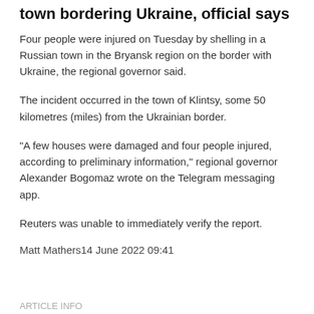town bordering Ukraine, official says
Four people were injured on Tuesday by shelling in a Russian town in the Bryansk region on the border with Ukraine, the regional governor said.
The incident occurred in the town of Klintsy, some 50 kilometres (miles) from the Ukrainian border.
“A few houses were damaged and four people injured, according to preliminary information,” regional governor Alexander Bogomaz wrote on the Telegram messaging app.
Reuters was unable to immediately verify the report.
Matt Mathers14 June 2022 09:41
ARTICLE INFO